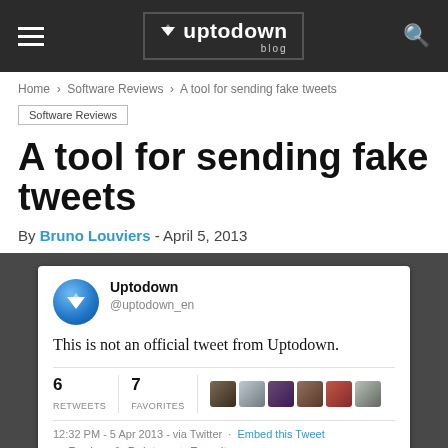uptodown blog
Home > Software Reviews > A tool for sending fake tweets
Software Reviews
A tool for sending fake tweets
By Bruno Louviers - April 5, 2013
[Figure (screenshot): A fake tweet screenshot showing Uptodown account (@uptodown_en) with text 'This is not an official tweet from Uptodown.' showing 6 retweets and 7 favorites, timestamped 12:32 PM - 5 Apr 2013]